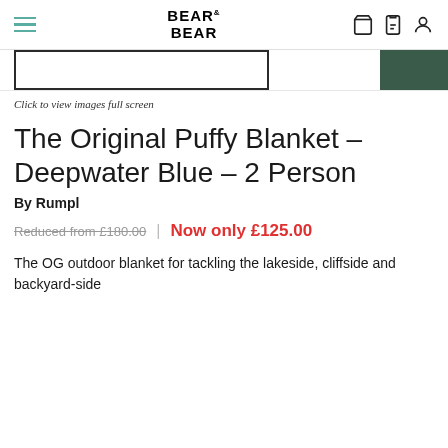BEAR & BEAR
[Figure (screenshot): Product image thumbnails: white product thumbnail on left, dark green thumbnail on right edge]
Click to view images full screen
The Original Puffy Blanket - Deepwater Blue - 2 Person
By Rumpl
Reduced from £180.00 | Now only £125.00
The OG outdoor blanket for tackling the lakeside, cliffside and backyard-side